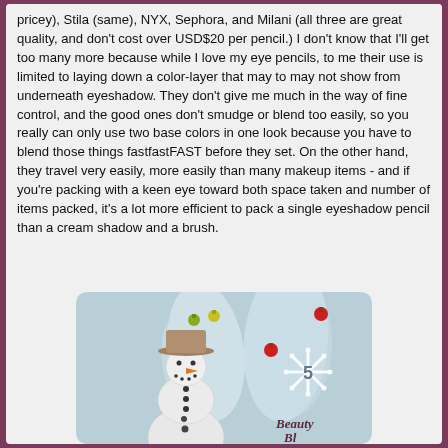pricey), Stila (same), NYX, Sephora, and Milani (all three are great quality, and don't cost over USD$20 per pencil.) I don't know that I'll get too many more because while I love my eye pencils, to me their use is limited to laying down a color-layer that may to may not show from underneath eyeshadow. They don't give me much in the way of fine control, and the good ones don't smudge or blend too easily, so you really can only use two base colors in one look because you have to blend those things fastfastFAST before they set. On the other hand, they travel very easily, more easily than many makeup items - and if you're packing with a keen eye toward both space taken and number of items packed, it's a lot more efficient to pack a single eyeshadow pencil than a cream shadow and a brush.
[Figure (illustration): A Christmas/holiday greeting card illustration showing a snowman wearing a tan hat, with an orange carrot nose and black button eyes and coat buttons. White stylized trees in the background. Colorful ornament balls (green, yellow, red) hanging. A snowflake with the number 5 in it. Text reading 'Beauty Bl...' in cursive at the bottom right. Light blue background.]